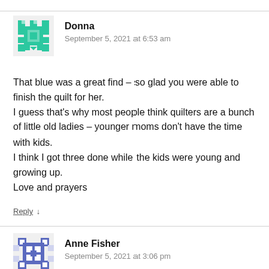[Figure (illustration): Teal/green pixel avatar icon for user Donna]
Donna
September 5, 2021 at 6:53 am
That blue was a great find – so glad you were able to finish the quilt for her.
I guess that's why most people think quilters are a bunch of little old ladies – younger moms don't have the time with kids.
I think I got three done while the kids were young and growing up.
Love and prayers
Reply ↓
[Figure (illustration): Blue/purple pixel avatar icon for user Anne Fisher]
Anne Fisher
September 5, 2021 at 3:06 pm